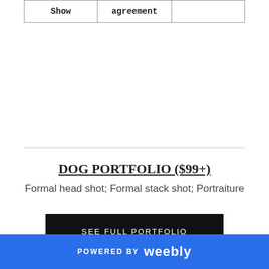| Show | agreement |  |
DOG PORTFOLIO ($99+)
Formal head shot; Formal stack shot; Portraiture
SEE FULL PORTFOLIO
POWERED BY weebly